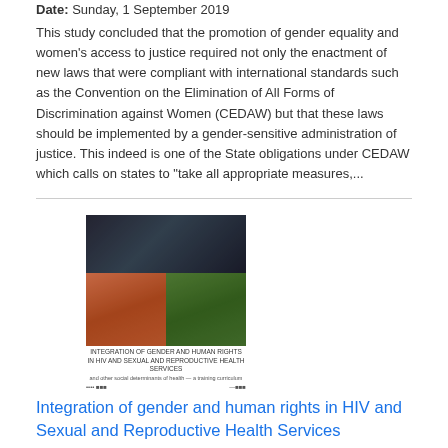Date: Sunday, 1 September 2019
This study concluded that the promotion of gender equality and women's access to justice required not only the enactment of new laws that were compliant with international standards such as the Convention on the Elimination of All Forms of Discrimination against Women (CEDAW) but that these laws should be implemented by a gender-sensitive administration of justice. This indeed is one of the State obligations under CEDAW which calls on states to "take all appropriate measures,...
[Figure (photo): Book cover showing faces in quadrants: top half dark/blue tones showing a person's face, bottom-left in orange/pink tones, bottom-right in green tones. Text below reads 'INTEGRATION OF GENDER AND HUMAN RIGHTS IN HIV AND SEXUAL AND REPRODUCTIVE HEALTH SERVICES' with small logos at the bottom.]
Integration of gender and human rights in HIV and Sexual and Reproductive Health Services
Date: Friday, 26 April 2013
The aim of this resource is to improve availability, acceptability, accessibility and quality of HIV and sexual and reproductive health (SRH) services for women, men, girls, and boys, regardless of